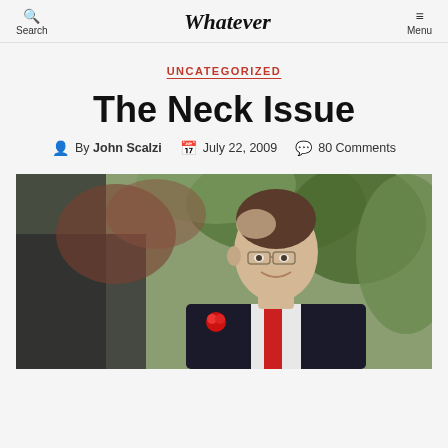Search | Whatever | Menu
UNCATEGORIZED
The Neck Issue
By John Scalzi  July 22, 2009  80 Comments
[Figure (photo): A man in a dark suit with a red boutonniere and white dress shirt, wearing glasses, smiling, photographed outdoors with green foliage in the background.]